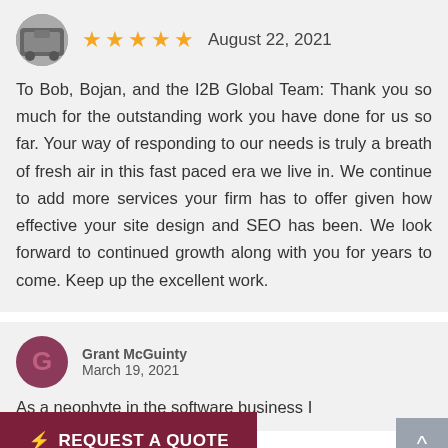[Figure (photo): Circular avatar photo of a reviewer, showing a car-related image]
August 22, 2021
★★★★★ (5 stars)
To Bob, Bojan, and the I2B Global Team: Thank you so much for the outstanding work you have done for us so far. Your way of responding to our needs is truly a breath of fresh air in this fast paced era we live in. We continue to add more services your firm has to offer given how effective your site design and SEO has been. We look forward to continued growth along with you for years to come. Keep up the excellent work.
Grant McGuinty
March 19, 2021
As a neophyte in the software business I
⚡ REQUEST A QUOTE